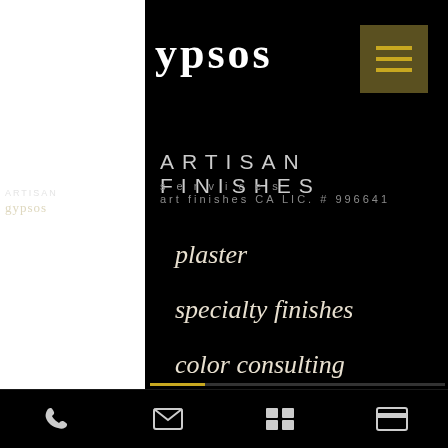ypsos
ARTISAN FINISHES
services
art finishes CA LIC. # 996641
plaster
specialty finishes
color consulting
painting
sculpture
custom colors
interior styling
wallpaper